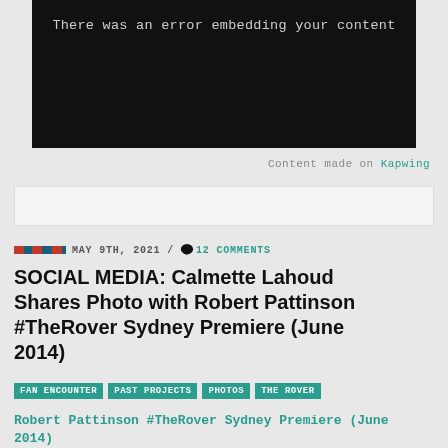[Figure (screenshot): Black video embed box with error message 'There was an error embedding your content']
Content made on Kapwing
[Figure (other): White/light grey rectangular bar, possibly an ad or embed placeholder]
MAY 9TH, 2021 / 12 COMMENTS
SOCIAL MEDIA: Calmette Lahoud Shares Photo with Robert Pattinson #TheRover Sydney Premiere (June 2014)
FAN ENCOUNTER  PAST PROJECTS  PHOTOS  THE ROVER
Robert Pattinson #TheRover Sydney Premiere (June 2014)